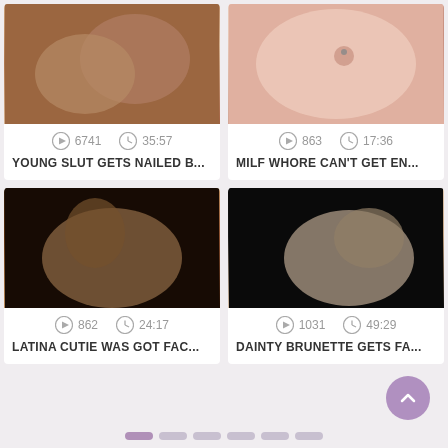[Figure (screenshot): Video thumbnail 1 - two figures on dark sofa]
6741   35:57
YOUNG SLUT GETS NAILED B...
[Figure (screenshot): Video thumbnail 2 - close up skin with piercing]
863   17:36
MILF WHORE CAN'T GET EN...
[Figure (screenshot): Video thumbnail 3 - figure on dark background]
862   24:17
LATINA CUTIE WAS GOT FAC...
[Figure (screenshot): Video thumbnail 4 - figure on dark background]
1031   49:29
DAINTY BRUNETTE GETS FA...